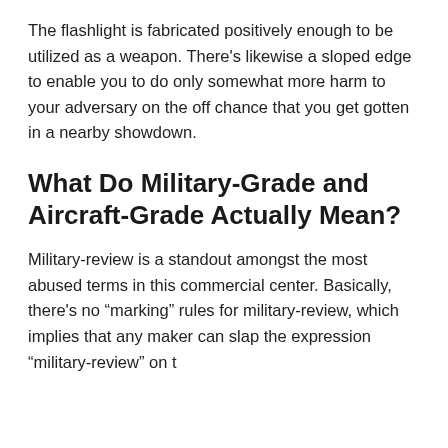The flashlight is fabricated positively enough to be utilized as a weapon. There's likewise a sloped edge to enable you to do only somewhat more harm to your adversary on the off chance that you get gotten in a nearby showdown.
What Do Military-Grade and Aircraft-Grade Actually Mean?
Military-review is a standout amongst the most abused terms in this commercial center. Basically, there's no “marking” rules for military-review, which implies that any maker can slap the expression “military-review” on t...